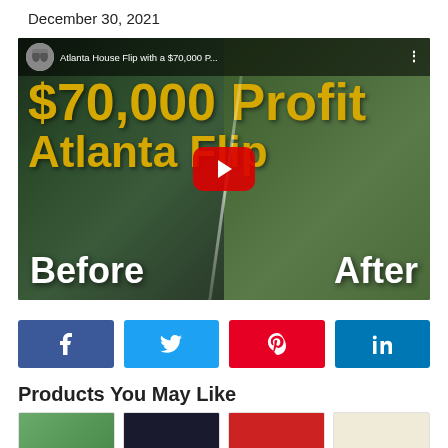December 30, 2021
[Figure (screenshot): YouTube video thumbnail showing Atlanta House Flip with a $70,000 Profit, with Before and After house images and a red play button]
[Figure (infographic): Social share buttons: Facebook (f), Twitter (bird), Pinterest (p), LinkedIn (in)]
Products You May Like
[Figure (photo): Row of product book covers partially visible at bottom of page]